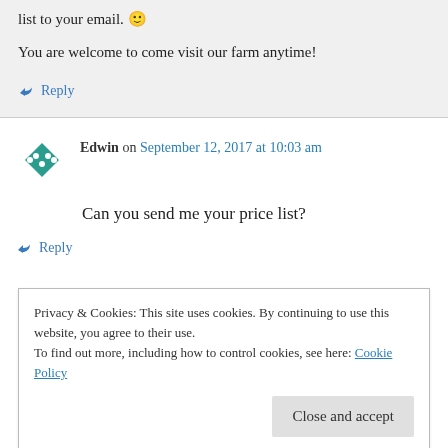list to your email. 🙂

You are welcome to come visit our farm anytime!
↪ Reply
Edwin on September 12, 2017 at 10:03 am
Can you send me your price list?
↪ Reply
Privacy & Cookies: This site uses cookies. By continuing to use this website, you agree to their use.
To find out more, including how to control cookies, see here: Cookie Policy
Close and accept